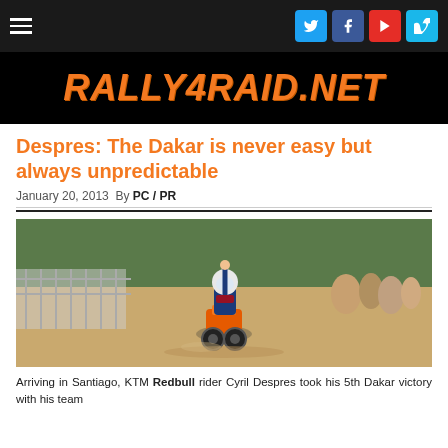RALLY4RAID.NET
Despres: The Dakar is never easy but always unpredictable
January 20, 2013  By PC / PR
[Figure (photo): KTM Redbull rider Cyril Despres raising his fist in victory on a motorcycle at the finish line in Santiago, Dakar Rally 2013, with crowd and green trees in background]
Arriving in Santiago, KTM Redbull rider Cyril Despres took his 5th Dakar victory with his team